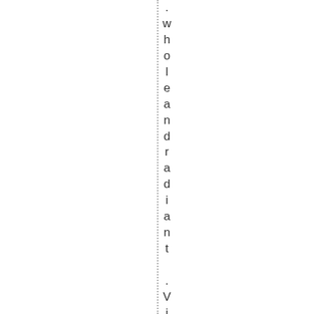. whole and radiant. Visualize that